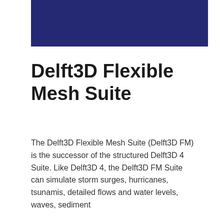[Figure (other): Dark navy blue rectangular banner graphic at the top of the page]
Delft3D Flexible Mesh Suite
The Delft3D Flexible Mesh Suite (Delft3D FM) is the successor of the structured Delft3D 4 Suite. Like Delft3D 4, the Delft3D FM Suite can simulate storm surges, hurricanes, tsunamis, detailed flows and water levels, waves, sediment